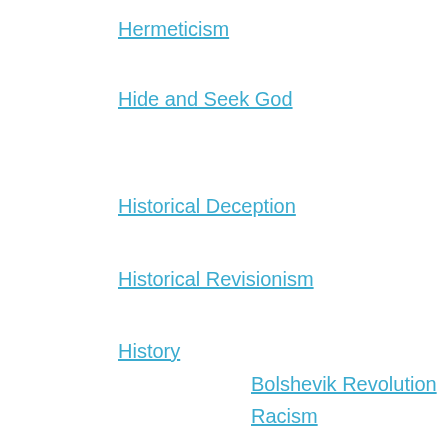Hermeticism
Hide and Seek God
Historical Deception
Historical Revisionism
History
Bolshevik Revolution
Racism
History's Greatest Lies
Hitler
Hittite
Holocaust